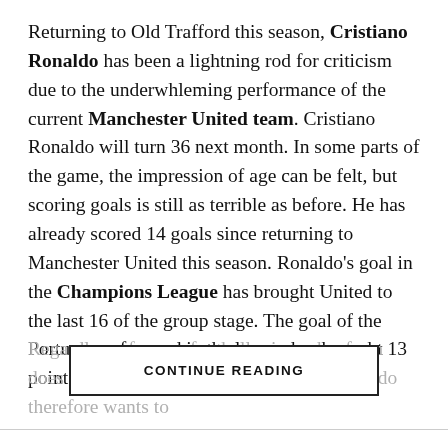Returning to Old Trafford this season, Cristiano Ronaldo has been a lightning rod for criticism due to the underwhleming performance of the current Manchester United team. Cristiano Ronaldo will turn 36 next month. In some parts of the game, the impression of age can be felt, but scoring goals is still as terrible as before. He has already scored 14 goals since returning to Manchester United this season. Ronaldo's goal in the Champions League has brought United to the last 16 of the group stage. The goal of the Portuguese forward in the league has brought 13 points to the team so far.
Regardless of age, a footballer in such a form does not think of retirement. Cristiano Ronaldo therefore wants to
CONTINUE READING